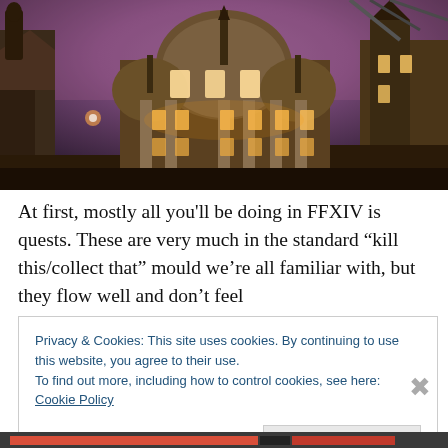[Figure (screenshot): Screenshot of a dark fantasy/steampunk city environment from FFXIV video game, showing ornate stone buildings with glowing windows against a purple twilight sky]
At first, mostly all you'll be doing in FFXIV is quests. These are very much in the standard “kill this/collect that” mould we’re all familiar with, but they flow well and don’t feel
Privacy & Cookies: This site uses cookies. By continuing to use this website, you agree to their use.
To find out more, including how to control cookies, see here: Cookie Policy
Close and accept